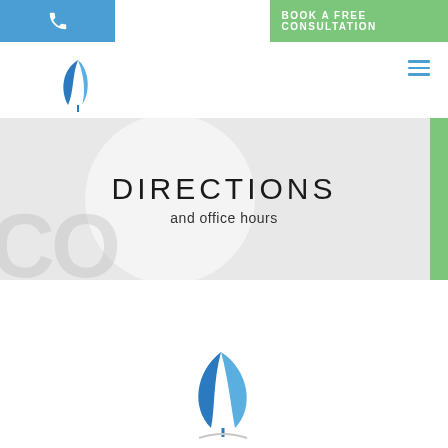[Figure (screenshot): Blue phone button on the top-left navigation bar]
BOOK A FREE CONSULTATION
[Figure (logo): Endobariatric logo with blue leaf icon and brand name]
[Figure (infographic): Hamburger menu icon (three horizontal blue lines)]
DIRECTIONS
and office hours
[Figure (logo): Large Endobariatric blue leaf logo at bottom of page]